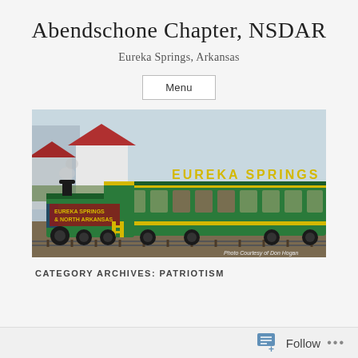Abendschone Chapter, NSDAR
Eureka Springs, Arkansas
Menu
[Figure (photo): A green Eureka Springs and North Arkansas railway train with locomotive and passenger car at a station, buildings in background. Photo credit: Photo Courtesy of Don Hogan]
CATEGORY ARCHIVES: PATRIOTISM
Follow ...